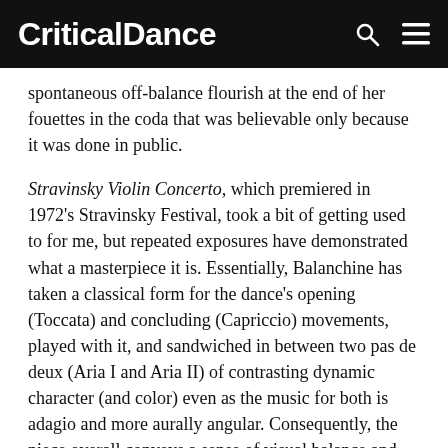CriticalDance
spontaneous off-balance flourish at the end of her fouettes in the coda that was believable only because it was done in public.
Stravinsky Violin Concerto, which premiered in 1972's Stravinsky Festival, took a bit of getting used to for me, but repeated exposures have demonstrated what a masterpiece it is. Essentially, Balanchine has taken a classical form for the dance's opening (Toccata) and concluding (Capriccio) movements, played with it, and sandwiched in between two pas de deux (Aria I and Aria II) of contrasting dynamic character (and color) even as the music for both is adagio and more aurally angular. Consequently, the piece overall conveys a sense of visual balance and out-of-balance, classic and modern, concurrently.